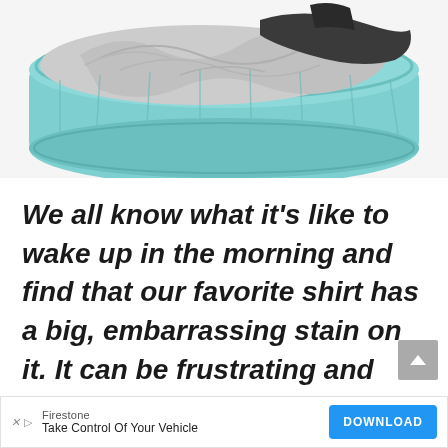[Figure (photo): A teal/mint colored laundry basket filled with crumpled clothes including gray and dark items, photographed against a white background]
We all know what it’s like to wake up in the morning and find that our favorite shirt has a big, embarrassing stain on it. It can be frustrating and annoying, especially if you don’t know how to get rid of those
[Figure (other): Advertisement banner: Firestone - Take Control Of Your Vehicle - DOWNLOAD button]